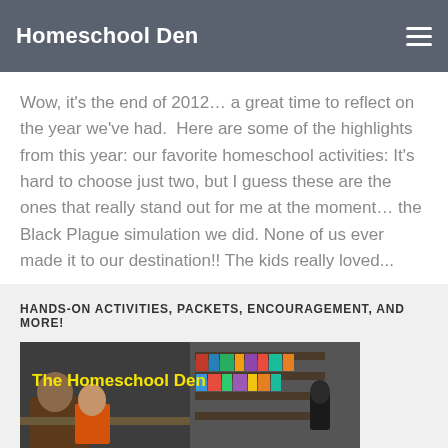Homeschool Den
Wow, it's the end of 2012… a great time to reflect on the year we've had.  Here are some of the highlights from this year: our favorite homeschool activities: It's hard to choose just two, but I guess these are the ones that really stand out for me at the moment… the Black Plague simulation we did. None of us ever made it to our destination!! The kids really loved...
HANDS-ON ACTIVITIES, PACKETS, ENCOURAGEMENT, AND MORE!
[Figure (photo): Photo of children at a table doing homeschool activities with bookshelves in the background, labeled 'The Homeschool Den' in yellow text]